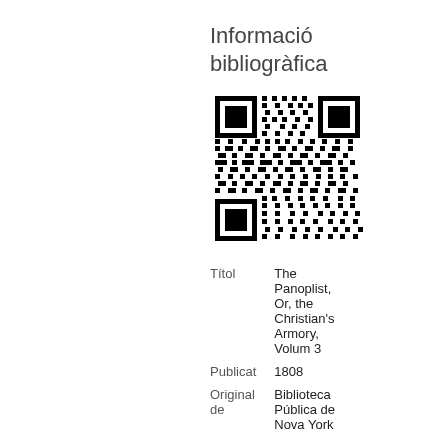Informació bibliogràfica
[Figure (other): QR code linking to bibliographic information]
| Títol | The Panoplist, Or, the Christian's Armory, Volum 3 |
| Publicat | 1808 |
| Original de | Biblioteca Pública de Nova York |